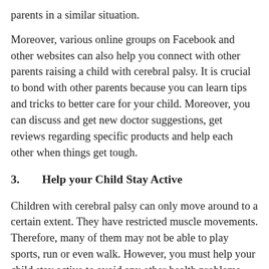parents in a similar situation.
Moreover, various online groups on Facebook and other websites can also help you connect with other parents raising a child with cerebral palsy. It is crucial to bond with other parents because you can learn tips and tricks to better care for your child. Moreover, you can discuss and get new doctor suggestions, get reviews regarding specific products and help each other when things get tough.
3.    Help your Child Stay Active
Children with cerebral palsy can only move around to a certain extent. They have restricted muscle movements. Therefore, many of them may not be able to play sports, run or even walk. However, you must help your child stay active to avoid any other health problems that may develop due to lack of movement.
You can teach them exercises to help them use their muscles and